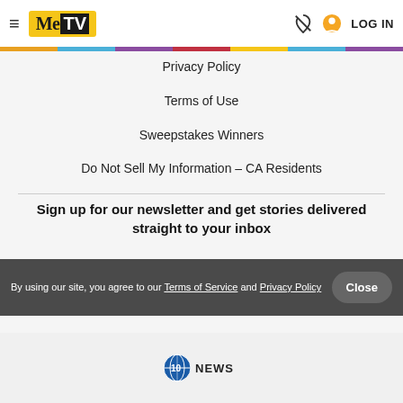MeTV — LOG IN
Privacy Policy
Terms of Use
Sweepstakes Winners
Do Not Sell My Information – CA Residents
Sign up for our newsletter and get stories delivered straight to your inbox
By using our site, you agree to our Terms of Service and Privacy Policy
[Figure (logo): 10 News logo at the bottom of the page]